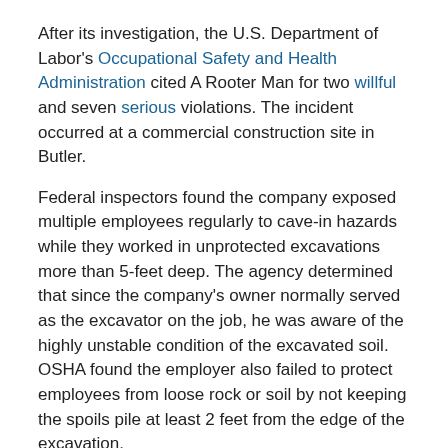After its investigation, the U.S. Department of Labor's Occupational Safety and Health Administration cited A Rooter Man for two willful and seven serious violations. The incident occurred at a commercial construction site in Butler.
Federal inspectors found the company exposed multiple employees regularly to cave-in hazards while they worked in unprotected excavations more than 5-feet deep. The agency determined that since the company's owner normally served as the excavator on the job, he was aware of the highly unstable condition of the excavated soil. OSHA found the employer also failed to protect employees from loose rock or soil by not keeping the spoils pile at least 2 feet from the edge of the excavation.
"A Rooter Man of Pittsburgh knowingly took unacceptable risks in an excavation, which led to a tragic and preventable death of a young man with his whole future ahead," said Christopher Robinson, director of OSHA's Pittsburgh Area Office. "Common-sense safety practices would have prevented this trench from turning into a worker's grave."
The citations carry a total of $174,000 in penalties.
To view the citations, visit: